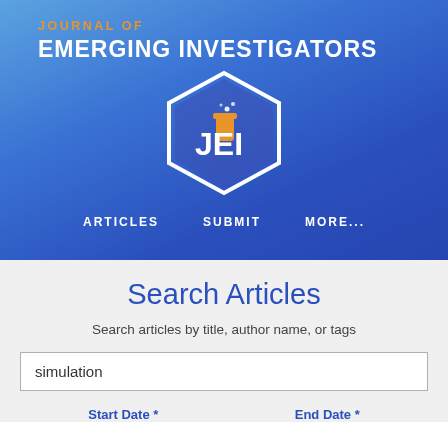[Figure (logo): Journal of Emerging Investigators banner with JEI hexagon logo on blue gradient background, with navigation links ARTICLES, SUBMIT, MORE...]
Search Articles
Search articles by title, author name, or tags
simulation
Start Date *    End Date *